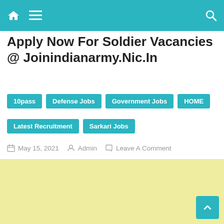Navigation bar with home icon, menu icon, and search icon
Apply Now For Soldier Vacancies @ Joinindianarmy.Nic.In
10pass
Defense Jobs
Government Jobs
HOME
Latest Recruitment
Sarkari Jobs
May 15, 2021  Admin  Leave A Comment
[Figure (other): Yellow/light green advertisement placeholder area]